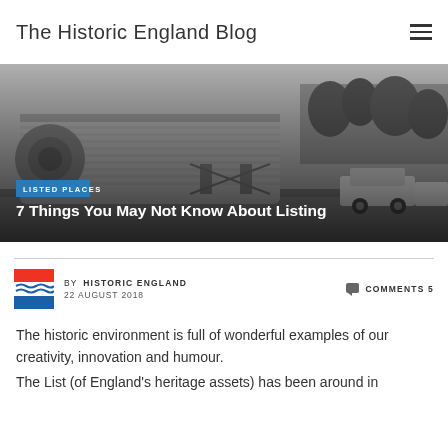The Historic England Blog
[Figure (photo): Black and white photograph of a large industrial or aerospace structure being transported on a road, with classic cars visible and trees in the background.]
LISTED PLACES
7 Things You May Not Know About Listing
BY HISTORIC ENGLAND  22 AUGUST 2018  COMMENTS 5
The historic environment is full of wonderful examples of our creativity, innovation and humour.
The List (of England's heritage assets) has been around in